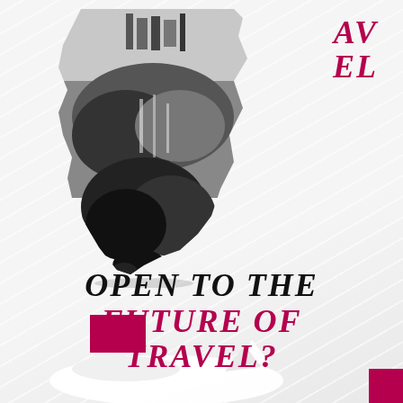AV EL
[Figure (illustration): Black and white collage of mountain/waterfall landscape with buildings, irregular torn-paper shape, pink square accent at top right of collage]
OPEN TO THE FUTURE OF TRAVEL?
DISCOVER MORE
[Figure (illustration): Bottom section with pink rectangles and partial white airplane or futuristic vehicle shape]